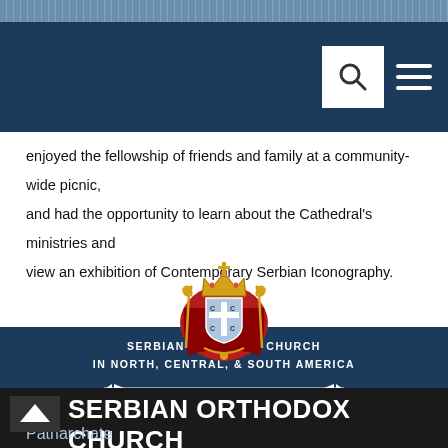[Figure (screenshot): Decorative top patterned band in steel blue]
[Figure (screenshot): Navy navigation bar with search icon (magnifying glass in white box) and hamburger menu icon]
enjoyed the fellowship of friends and family at a community-wide picnic, and had the opportunity to learn about the Cathedral's ministries and view an exhibition of Contemporary Serbian Iconography.
[Figure (logo): Serbian Orthodox Church coat of arms / crest with crown, red mantle, shield with cross, gold accents]
SERBIAN ORTHODOX CHURCH IN NORTH, CENTRAL, & SOUTH AMERICA
SERBIAN ORTHODOX CHURCH
Patriarchate